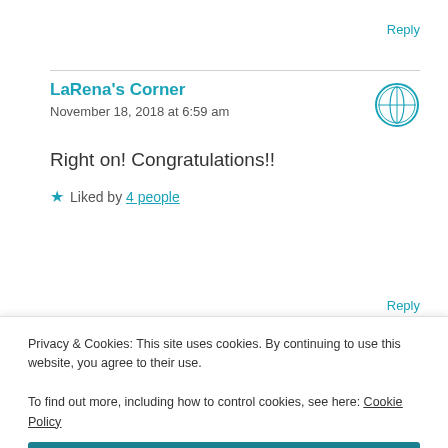Reply
LaRena's Corner
November 18, 2018 at 6:59 am
Right on! Congratulations!!
Liked by 4 people
Reply
Privacy & Cookies: This site uses cookies. By continuing to use this website, you agree to their use.
To find out more, including how to control cookies, see here: Cookie Policy
Close and accept